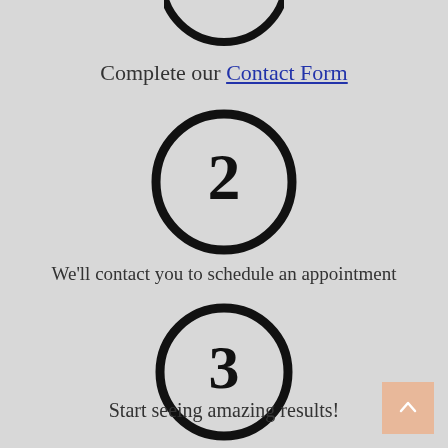[Figure (illustration): Circle with number 1 (partially cropped at top)]
Complete our Contact Form
[Figure (illustration): Circle with number 2]
We'll contact you to schedule an appointment
[Figure (illustration): Circle with number 3]
Start seeing amazing results!